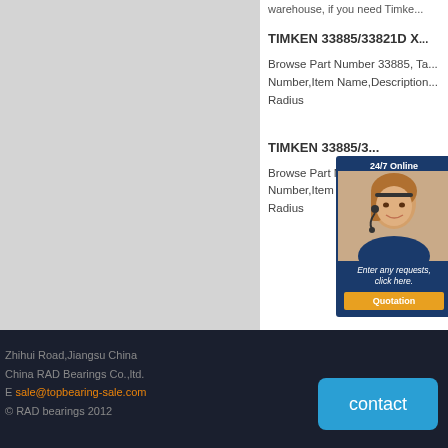warehouse, if you need Timke...
TIMKEN 33885/33821D X1...
Browse Part Number 33885, Ta... Number,Item Name,Description... Radius
TIMKEN 33885/3...
Browse Part Numbe... Number,Item Name,Description... Radius
[Figure (photo): 24/7 Online chat widget with a customer service representative photo, 'Enter any requests, click here.' text, and a gold 'Quotation' button.]
Zhihui Road,Jiangsu China
China RAD Bearings Co.,ltd.
E sale@topbearing-sale.com
© RAD bearings 2012